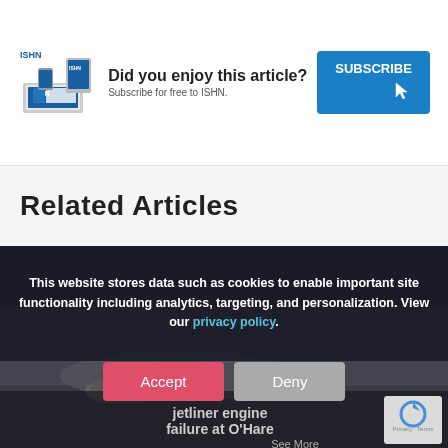[Figure (screenshot): ISHN magazine subscription banner with magazine covers on devices, 'Did you enjoy this article? Subscribe for free to ISHN.' text, and a blue SUBSCRIBE button with cursor icon.]
Related Articles
This website stores data such as cookies to enable important site functionality including analytics, targeting, and personalization. View our privacy policy.
[Figure (screenshot): Partial article thumbnail showing airplane/jetliner engine, with text 'jetliner engine failure at O'Hare' and reCAPTCHA widget visible, with Accept and Deny buttons overlaid.]